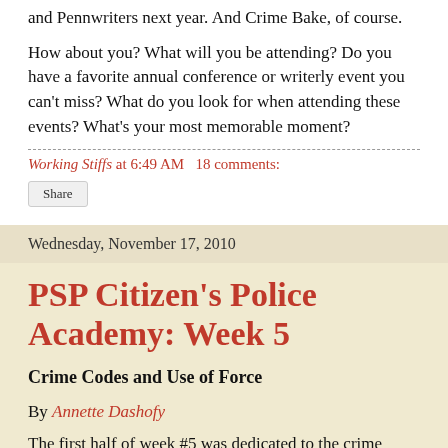and Pennwriters next year. And Crime Bake, of course.
How about you? What will you be attending? Do you have a favorite annual conference or writerly event you can't miss? What do you look for when attending these events? What's your most memorable moment?
Working Stiffs at 6:49 AM   18 comments:
Share
Wednesday, November 17, 2010
PSP Citizen's Police Academy: Week 5
Crime Codes and Use of Force
By Annette Dashofy
The first half of week #5 was dedicated to the crime codes. The book dealing with the topic makes War and Peace look